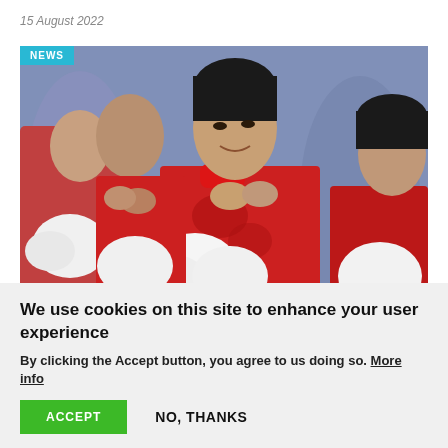15 August 2022
[Figure (photo): Young women in red and white traditional costumes with white fluffy accessories, clapping hands at an event. A 'NEWS' badge appears in the top-left corner of the image.]
We use cookies on this site to enhance your user experience
By clicking the Accept button, you agree to us doing so. More info
ACCEPT   NO, THANKS